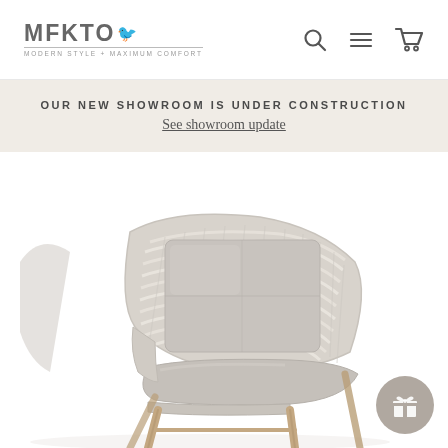MFKTO - MODERN STYLE + MAXIMUM COMFORT
OUR NEW SHOWROOM IS UNDER CONSTRUCTION
See showroom update
[Figure (photo): A modern outdoor lounge chair with woven rope back in light gray/beige, a gray cushion on the back and seat, and wooden/teak legs. The chair is photographed on a white background.]